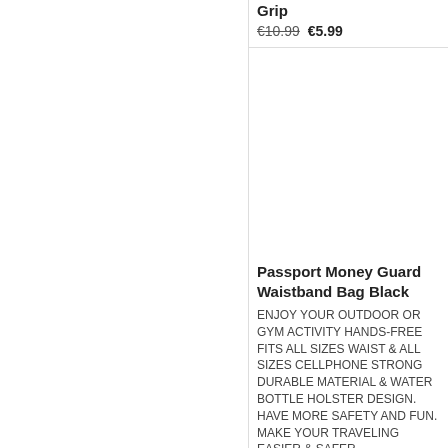Grip
€10.99  €5.99
[Figure (photo): Product image placeholder for Passport Money Guard Waistband Bag Black]
Passport Money Guard Waistband Bag Black
ENJOY YOUR OUTDOOR OR GYM ACTIVITY HANDS-FREE FITS ALL SIZES WAIST & ALL SIZES CELLPHONE STRONG DURABLE MATERIAL & WATER BOTTLE HOLSTER DESIGN. HAVE MORE SAFETY AND FUN. MAKE YOUR TRAVELING EASIER & SAFER
Buy   Details
Passport Money Guard Waistband Bag Bla
€20.99  €14.99